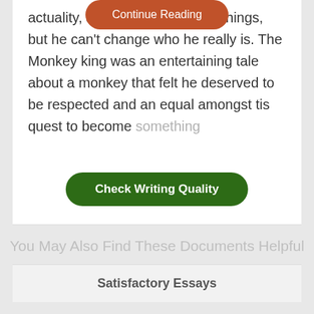actuality, Jin can change a few things, but he can't change who he really is. The Monkey king was an entertaining tale about a monkey that felt he deserved to be respected and an equal amongst t[Continue Reading]is quest to become something[Check Writing Quality]
You May Also Find These Documents Helpful
Satisfactory Essays